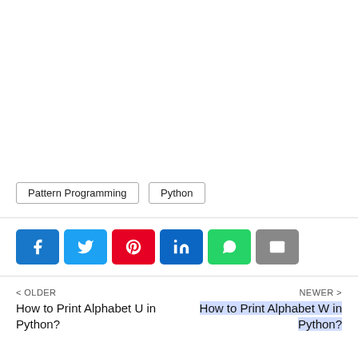Pattern Programming
Python
[Figure (infographic): Social share buttons: Facebook, Twitter, Pinterest, LinkedIn, WhatsApp, Email]
< OLDER
How to Print Alphabet U in Python?
NEWER >
How to Print Alphabet W in Python?